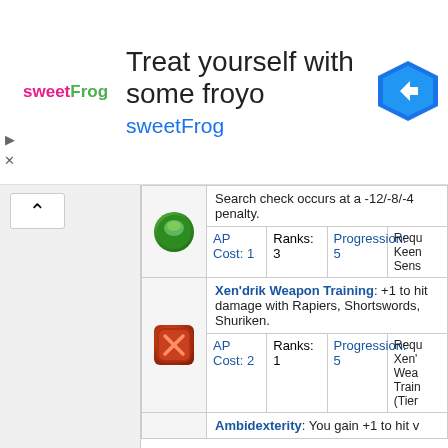[Figure (other): SweetFrog frozen yogurt advertisement banner with logo, headline 'Treat yourself with some froyo', and a blue navigation arrow icon]
Search check occurs at a -12/-8/-4 penalty.
| Icon | Description | AP Cost | Ranks | Progression | Requirements |
| --- | --- | --- | --- | --- | --- |
| [green icon] | Search check occurs at a -12/-8/-4 penalty. | AP Cost: 1 | Ranks: 3 | Progression: 5 | Requ... Keen Sens... |
| [red icon] | Xen'drik Weapon Training: +1 to hit damage with Rapiers, Shortswords, Shuriken. | AP Cost: 2 | AP Cost: 2 | Ranks: 1 | Progression: 5 | Requ... Xen' Wea... Train... (Tier... |
|  | Ambidexterity: You gain +1 to hit v... |  |  |  |  |